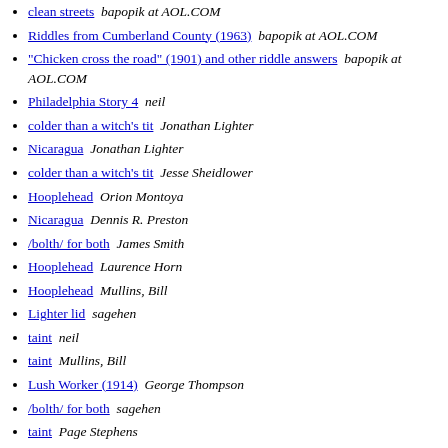clean streets  bapopik at AOL.COM
Riddles from Cumberland County (1963)  bapopik at AOL.COM
"Chicken cross the road" (1901) and other riddle answers  bapopik at AOL.COM
Philadelphia Story 4  neil
colder than a witch's tit  Jonathan Lighter
Nicaragua  Jonathan Lighter
colder than a witch's tit  Jesse Sheidlower
Hooplehead  Orion Montoya
Nicaragua  Dennis R. Preston
/bolth/ for both  James Smith
Hooplehead  Laurence Horn
Hooplehead  Mullins, Bill
Lighter lid  sagehen
taint  neil
taint  Mullins, Bill
Lush Worker (1914)  George Thompson
/bolth/ for both  sagehen
taint  Page Stephens
Hooplehead  Jonathan Lighter
Lighter lid  Jonathan Lighter
taint  Jonathan Lighter
Lighter lid  Jesse Sheidlower
taint  Jonathan Lighter
taint  Mullins, Bill